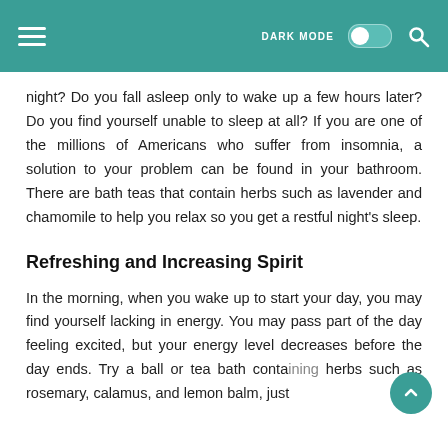DARK MODE [toggle] [search]
night? Do you fall asleep only to wake up a few hours later? Do you find yourself unable to sleep at all? If you are one of the millions of Americans who suffer from insomnia, a solution to your problem can be found in your bathroom. There are bath teas that contain herbs such as lavender and chamomile to help you relax so you get a restful night's sleep.
Refreshing and Increasing Spirit
In the morning, when you wake up to start your day, you may find yourself lacking in energy. You may pass part of the day feeling excited, but your energy level decreases before the day ends. Try a ball or tea bath containing herbs such as rosemary, calamus, and lemon balm, just